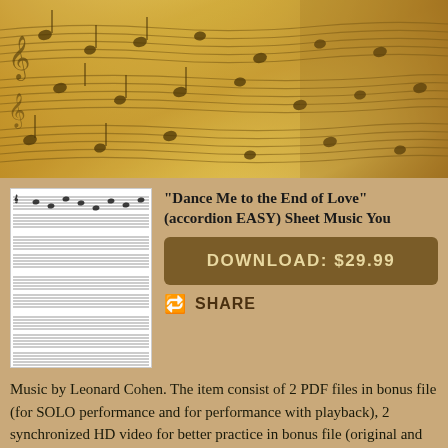[Figure (photo): Close-up photograph of sheet music pages with musical notation, warm golden/sepia tones]
[Figure (photo): Thumbnail image of accordion sheet music pages showing musical staff notation]
"Dance Me to the End of Love" (accordion EASY) Sheet Music You
DOWNLOAD: $29.99
SHARE
Music by Leonard Cohen. The item consist of 2 PDF files in bonus file (for SOLO performance and for performance with playback), 2 synchronized HD video for better practice in bonus file (original and playback videos), 1 melody track mp3, 1 professional backing track (play along, playback) mp3 in bonus file too. For full